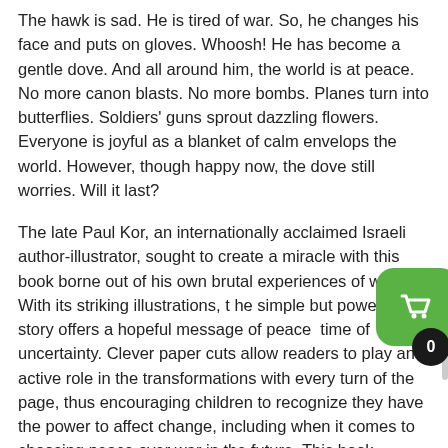The hawk is sad. He is tired of war. So, he changes his face and puts on gloves. Whoosh! He has become a gentle dove. And all around him, the world is at peace. No more canon blasts. No more bombs. Planes turn into butterflies. Soldiers' guns sprout dazzling flowers. Everyone is joyful as a blanket of calm envelops the world. However, though happy now, the dove still worries. Will it last?
The late Paul Kor, an internationally acclaimed Israeli author-illustrator, sought to create a miracle with this book borne out of his own brutal experiences of war. With its striking illustrations, the simple but powerful story offers a hopeful message of peace in a time of uncertainty. Clever paper cuts allow readers to play an active role in the transformations with every turn of the page, thus encouraging children to recognize they have the power to affect change, including when it comes to choosing peace over war in the future. This book provides an accessible look at the concepts of war and peace and would make a terrific discussion starter on the subject. It could also be a model for an art lesson on papercutting. A note at the end of the book details the inspiration behind the story